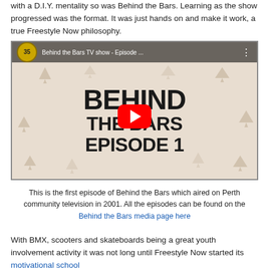with a D.I.Y. mentality so was Behind the Bars. Learning as the show progressed was the format. It was just hands on and make it work, a true Freestyle Now philosophy.
[Figure (screenshot): YouTube video thumbnail for 'Behind the Bars TV show - Episode ...' showing bold stencil text 'BEHIND THE BARS EPISODE 1' on a tan background with arrow decorations and a red YouTube play button overlay. YouTube logo badge with '35' shows in top left corner.]
This is the first episode of Behind the Bars which aired on Perth community television in 2001. All the episodes can be found on the Behind the Bars media page here
With BMX, scooters and skateboards being a great youth involvement activity it was not long until Freestyle Now started its motivational school